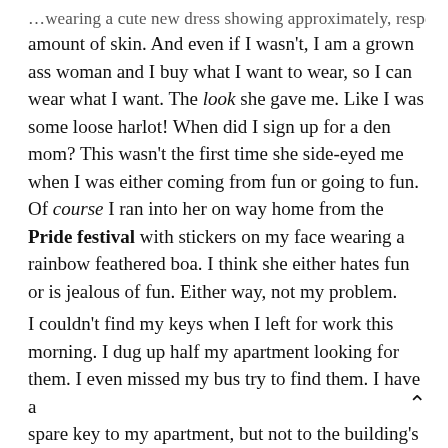...wearing a cute new dress showing approximately, respectable amount of skin. And even if I wasn't, I am a grown ass woman and I buy what I want to wear, so I can wear what I want. The look she gave me. Like I was some loose harlot! When did I sign up for a den mom? This wasn't the first time she side-eyed me when I was either coming from fun or going to fun. Of course I ran into her on way home from the Pride festival with stickers on my face wearing a rainbow feathered boa. I think she either hates fun or is jealous of fun. Either way, not my problem.
I couldn't find my keys when I left for work this morning. I dug up half my apartment looking for them. I even missed my bus try to find them. I have a spare key to my apartment, but not to the building's front door. It's one of those keys that you can't get copied at your local Home Depot. We used to have the access code, but when our building